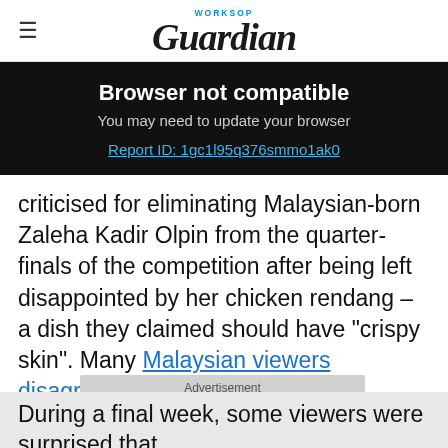WORKSOP Guardian
Browser not compatible
You may need to update your browser
Report ID: 1gc1l95q376smmo1ak0
criticised for eliminating Malaysian-born Zaleha Kadir Olpin from the quarter-finals of the competition after being left disappointed by her chicken rendang – a dish they claimed should have "crispy skin". Many Malaysian viewers disagreed.
Advertisement
During a final week, some viewers were surprised that